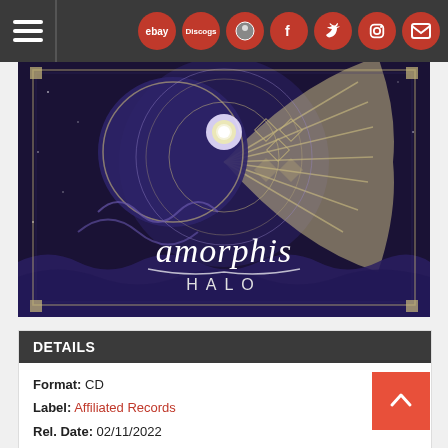Navigation bar with hamburger menu, eBay, Discogs, site, Facebook, Twitter, Instagram, Mail icons
[Figure (photo): Album cover for Amorphis - Halo. Dark navy/purple background with intricate mandala/celestial artwork showing a sun and moon design with decorative swirling patterns. Band name 'amorphis' in stylized script font and 'HALO' in spaced capital letters below.]
DETAILS
Format: CD
Label: Affiliated Records
Rel. Date: 02/11/2022
UPC: 4251981700274